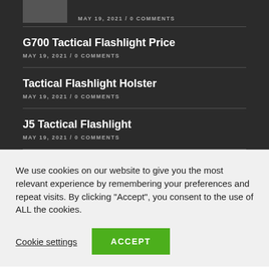MAY 19, 2021 / 0 COMMENTS
G700 Tactical Flashlight Price
MAY 19, 2021 / 0 COMMENTS
Tactical Flashlight Holster
MAY 19, 2021 / 0 COMMENTS
J5 Tactical Flashlight
MAY 19, 2021 / 0 COMMENTS
We use cookies on our website to give you the most relevant experience by remembering your preferences and repeat visits. By clicking “Accept”, you consent to the use of ALL the cookies.
Cookie settings
ACCEPT